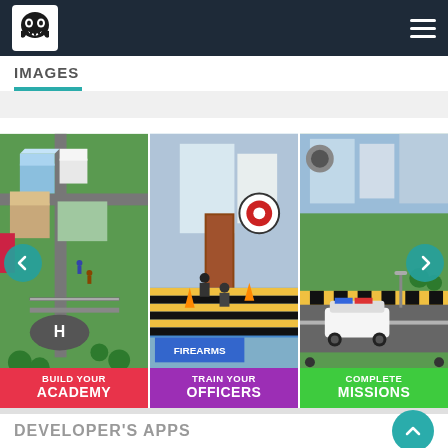CyanogenMod navigation bar with logo and menu
IMAGES
[Figure (screenshot): Three game screenshots side by side: 1) Isometric police academy build view with red label 'BUILD YOUR ACADEMY', 2) Firearms training range with purple label 'TRAIN YOUR OFFICERS', 3) Isometric police car mission view with green label 'COMPLETE MISSIONS'. Left and right carousel navigation arrows visible.]
DEVELOPER'S APPS